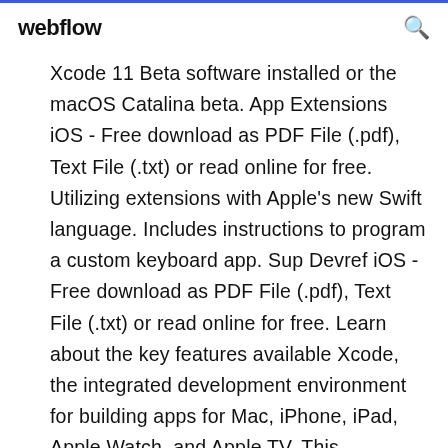webflow
Xcode 11 Beta software installed or the macOS Catalina beta. App Extensions iOS - Free download as PDF File (.pdf), Text File (.txt) or read online for free. Utilizing extensions with Apple's new Swift language. Includes instructions to program a custom keyboard app. Sup Devref iOS - Free download as PDF File (.pdf), Text File (.txt) or read online for free. Learn about the key features available Xcode, the integrated development environment for building apps for Mac, iPhone, iPad, Apple Watch, and Apple TV. This document lists security updates for Apple software. Over the last few months, OneSignal has tracked the launch of iOS 13 to understand...